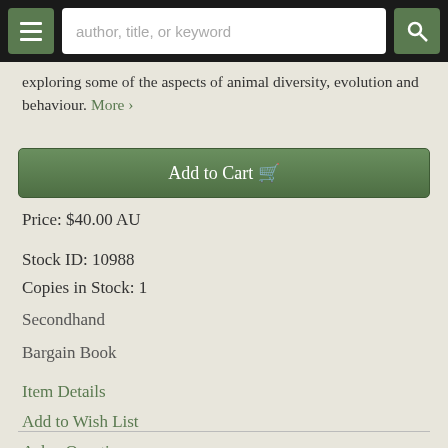author, title, or keyword
exploring some of the aspects of animal diversity, evolution and behaviour. More ›
Add to Cart
Price: $40.00 AU
Stock ID: 10988
Copies in Stock: 1
Secondhand
Bargain Book
Item Details
Add to Wish List
Ask a Question